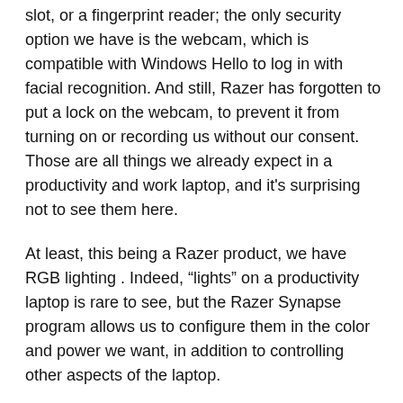slot, or a fingerprint reader; the only security option we have is the webcam, which is compatible with Windows Hello to log in with facial recognition. And still, Razer has forgotten to put a lock on the webcam, to prevent it from turning on or recording us without our consent. Those are all things we already expect in a productivity and work laptop, and it's surprising not to see them here.
At least, this being a Razer product, we have RGB lighting . Indeed, “lights” on a productivity laptop is rare to see, but the Razer Synapse program allows us to configure them in the color and power we want, in addition to controlling other aspects of the laptop.
Other style
The Razer Book doesn’t look much like other productivity notebooks, despite, in theory, appealing to the same type of